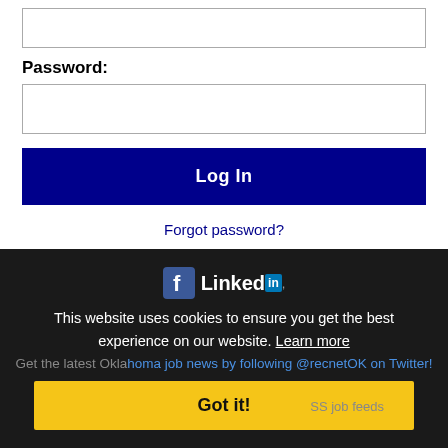[Figure (screenshot): Empty text input box (top of form, partially visible)]
Password:
[Figure (screenshot): Password input box]
Log In
Forgot password?
[Figure (logo): Facebook and LinkedIn logos]
This website uses cookies to ensure you get the best experience on our website. Learn more
Get the latest Oklahoma job news by following @recnetOK on Twitter!
Got it!
Latest RSS job feeds